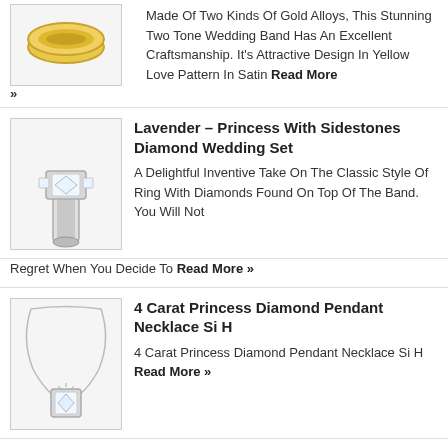Made Of Two Kinds Of Gold Alloys, This Stunning Two Tone Wedding Band Has An Excellent Craftsmanship. It's Attractive Design In Yellow Love Pattern In Satin Read More »
Lavender – Princess With Sidestones Diamond Wedding Set
A Delightful Inventive Take On The Classic Style Of Ring With Diamonds Found On Top Of The Band. You Will Not Regret When You Decide To Read More »
4 Carat Princess Diamond Pendant Necklace Si H
4 Carat Princess Diamond Pendant Necklace Si H Read More »
Mens 14k Yellow Gold Wedding Band Ring (2 Mm)
Mens 14k Yellow Gold Wedding Band Ring (2 Mm) Read More »